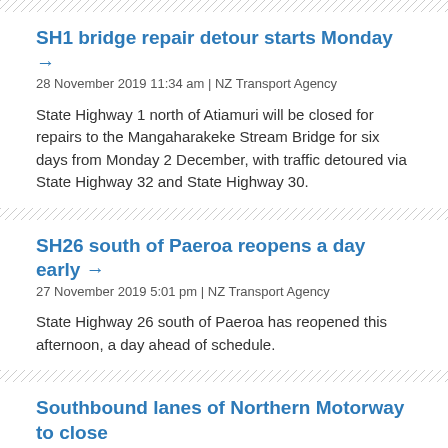SH1 bridge repair detour starts Monday →
28 November 2019 11:34 am | NZ Transport Agency
State Highway 1 north of Atiamuri will be closed for repairs to the Mangaharakeke Stream Bridge for six days from Monday 2 December, with traffic detoured via State Highway 32 and State Highway 30.
SH26 south of Paeroa reopens a day early →
27 November 2019 5:01 pm | NZ Transport Agency
State Highway 26 south of Paeroa has reopened this afternoon, a day ahead of schedule.
Southbound lanes of Northern Motorway to close